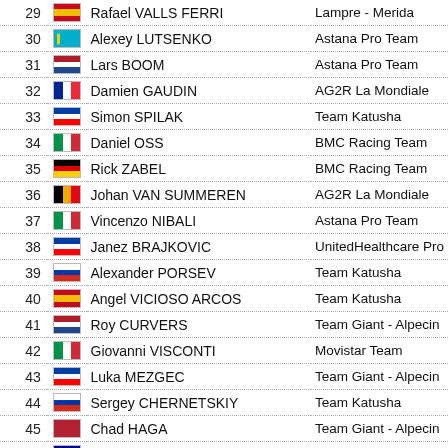| # | Flag | Name | Team |
| --- | --- | --- | --- |
| 29 | ES | Rafael VALLS FERRI | Lampre - Merida |
| 30 | KZ | Alexey LUTSENKO | Astana Pro Team |
| 31 | NL | Lars BOOM | Astana Pro Team |
| 32 | FR | Damien GAUDIN | AG2R La Mondiale |
| 33 | SI | Simon SPILAK | Team Katusha |
| 34 | IT | Daniel OSS | BMC Racing Team |
| 35 | DE | Rick ZABEL | BMC Racing Team |
| 36 | BE | Johan VAN SUMMEREN | AG2R La Mondiale |
| 37 | IT | Vincenzo NIBALI | Astana Pro Team |
| 38 | SI | Janez BRAJKOVIC | UnitedHealthcare Pro |
| 39 | RU | Alexander PORSEV | Team Katusha |
| 40 | ES | Angel VICIOSO ARCOS | Team Katusha |
| 41 | NL | Roy CURVERS | Team Giant - Alpecin |
| 42 | IT | Giovanni VISCONTI | Movistar Team |
| 43 | SI | Luka MEZGEC | Team Giant - Alpecin |
| 44 | RU | Sergey CHERNETSKIY | Team Katusha |
| 45 | US | Chad HAGA | Team Giant - Alpecin |
| 46 | AU | Mark RENSHAW | Etixx - Quick Step |
| 47 | BE | Julien VERMOTE | Etixx - Quick Step |
| 48 | FR | Thierry HUPOND | Team Giant - Alpecin |
| 49 | DE | Tony MARTIN | Etixx - Quick Step |
| 50 | CH | Stefan KÜNG | BMC Racing Team |